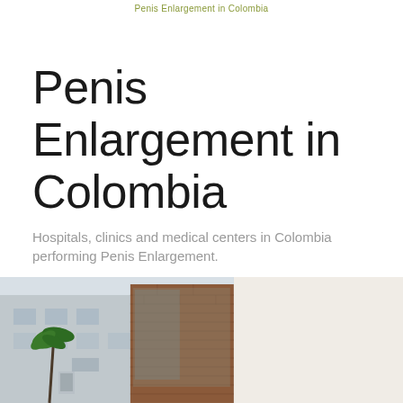Penis Enlargement in Colombia
Penis Enlargement in Colombia
Hospitals, clinics and medical centers in Colombia performing Penis Enlargement.
[Figure (photo): Exterior photo of a modern medical clinic or hospital building with brick and concrete facade, palm tree visible, partial view showing two sections of the building]